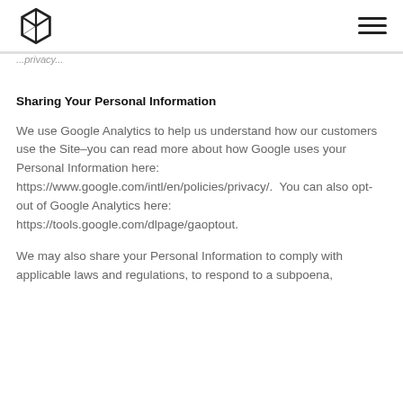[Logo] [hamburger menu]
...privacy...
Sharing Your Personal Information
We use Google Analytics to help us understand how our customers use the Site–you can read more about how Google uses your Personal Information here: https://www.google.com/intl/en/policies/privacy/.  You can also opt-out of Google Analytics here: https://tools.google.com/dlpage/gaoptout.
We may also share your Personal Information to comply with applicable laws and regulations, to respond to a subpoena,